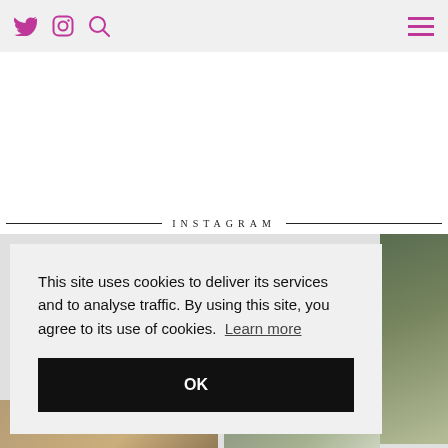Twitter, Instagram, Search icons | Hamburger menu
INSTAGRAM
This site uses cookies to deliver its services and to analyse traffic. By using this site, you agree to its use of cookies. Learn more
OK